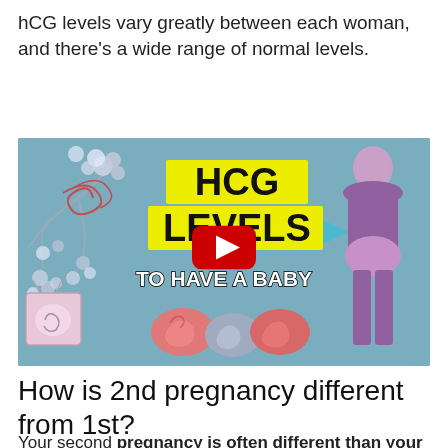hCG levels vary greatly between each woman, and there's a wide range of normal levels.
[Figure (screenshot): YouTube video thumbnail showing 'HCG LEVELS TO HAVE A BABY' with floral decorations, embryo illustrations, a female figure silhouette, a red play button, and a small ultrasound screen icon, on a blue-grey background.]
How is 2nd pregnancy different from 1st?
Your second pregnancy is often different than your first. You might show sooner